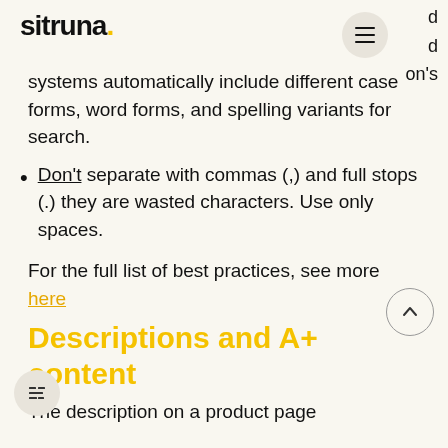sitruna.
systems automatically include different case forms, word forms, and spelling variants for search.
Don't separate with commas (,) and full stops (.) they are wasted characters. Use only spaces.
For the full list of best practices, see more here
Descriptions and A+ content
The description on a product page